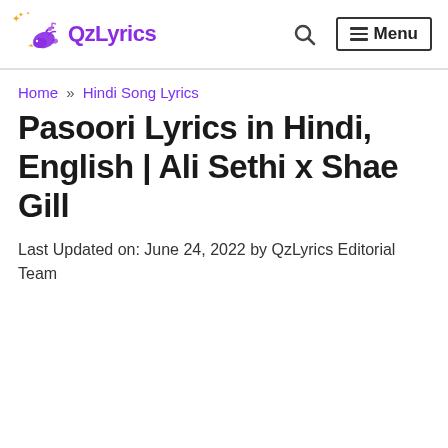QzLyrics | Menu
Home » Hindi Song Lyrics
Pasoori Lyrics in Hindi, English | Ali Sethi x Shae Gill
Last Updated on: June 24, 2022 by QzLyrics Editorial Team